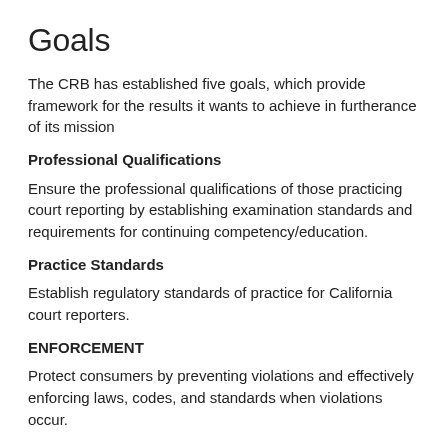Goals
The CRB has established five goals, which provide framework for the results it wants to achieve in furtherance of its mission
Professional Qualifications
Ensure the professional qualifications of those practicing court reporting by establishing examination standards and requirements for continuing competency/education.
Practice Standards
Establish regulatory standards of practice for California court reporters.
ENFORCEMENT
Protect consumers by preventing violations and effectively enforcing laws, codes, and standards when violations occur.
CONSUMER INFORMATION